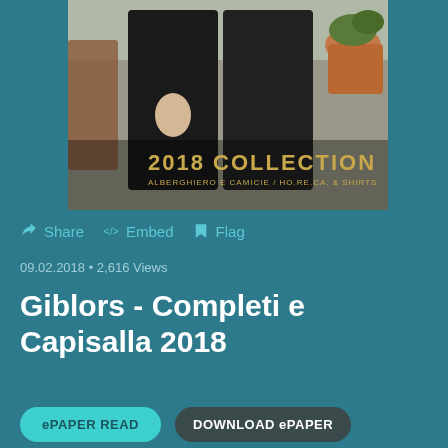[Figure (photo): Two men in dark suits standing together outdoors near a stone wall with a terracotta pot visible. Text overlay reads '2018 COLLECTION / ALBERGHIERO E CAMICIE / HO.RE.CA. & SHIRTS']
Share  Embed  Flag
09.02.2018 • 2,616 Views
Giblors - Completi e Capisalla 2018
ePAPER READ  DOWNLOAD ePAPER